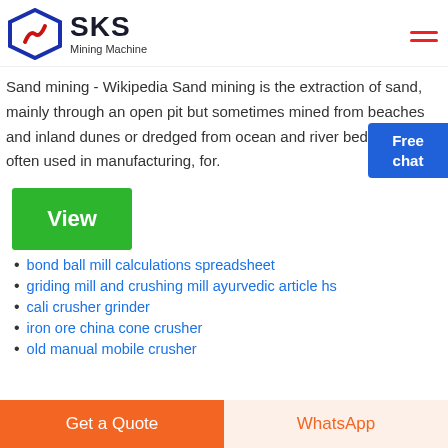SKS Mining Machine
Sand mining - Wikipedia Sand mining is the extraction of sand, mainly through an open pit but sometimes mined from beaches and inland dunes or dredged from ocean and river bedsSand often used in manufacturing, for.
bond ball mill calculations spreadsheet
griding mill and crushing mill ayurvedic article hs
cali crusher grinder
iron ore china cone crusher
old manual mobile crusher
Get a Quote   WhatsApp